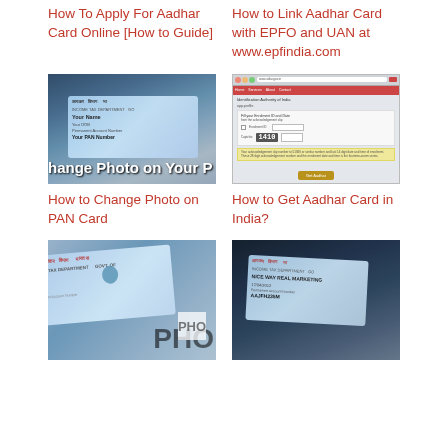How To Apply For Aadhar Card Online [How to Guide]
How to Link Aadhar Card with EPFO and UAN at www.epfindia.com
[Figure (photo): Hand holding a PAN card with text 'Change Photo on Your PAN' overlaid]
[Figure (screenshot): Screenshot of UIDAI website showing Aadhar card enrollment form with captcha 1410]
How to Change Photo on PAN Card
How to Get Aadhar Card in India?
[Figure (photo): Close-up of PAN card showing Income Tax Department GOV.OF India with PHO overlay text]
[Figure (photo): Hand holding a PAN card showing NICE WAY REAL MARKETING with date 17/04/2012 and PAN number AAJFH235M]